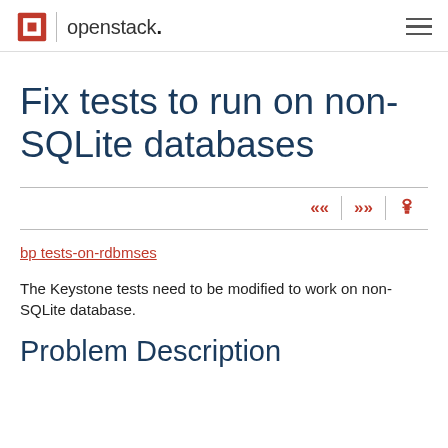openstack.
Fix tests to run on non-SQLite databases
bp tests-on-rdbmses
The Keystone tests need to be modified to work on non-SQLite database.
Problem Description